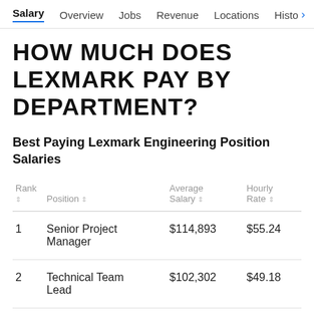Salary  Overview  Jobs  Revenue  Locations  Histo >
HOW MUCH DOES LEXMARK PAY BY DEPARTMENT?
Best Paying Lexmark Engineering Position Salaries
| Rank | Position | Average Salary | Hourly Rate |
| --- | --- | --- | --- |
| 1 | Senior Project Manager | $114,893 | $55.24 |
| 2 | Technical Team Lead | $102,302 | $49.18 |